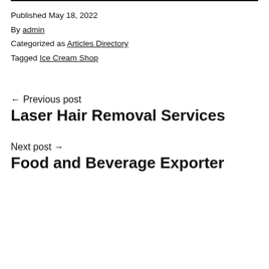Published May 18, 2022
By admin
Categorized as Articles Directory
Tagged Ice Cream Shop
← Previous post
Laser Hair Removal Services
Next post →
Food and Beverage Exporter